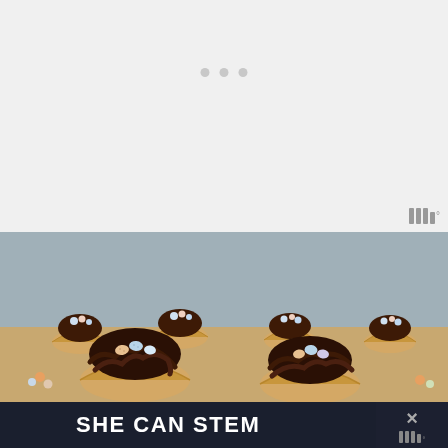[Figure (screenshot): White/light grey loading or blank area with three grey dots (carousel indicators) in the upper portion of the page]
[Figure (photo): Close-up photograph of rows of cupcakes decorated with dark chocolate frosting piped in a nest shape, topped with small speckled candy eggs in pastel colors (blue, pink, orange) against a light blue-grey background]
SHE CAN STEM
[Figure (logo): Measureup or similar brand logo consisting of vertical bars and a degree symbol, appearing twice — once in grey in the top section and once in the dark banner at bottom right with an X close button]